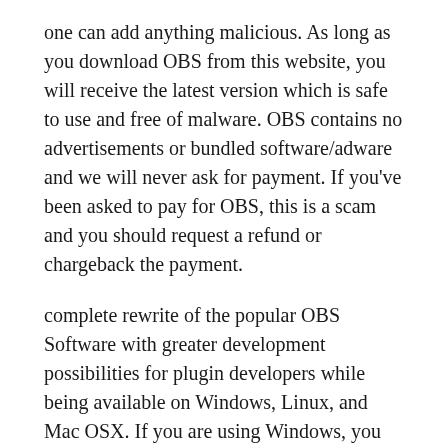one can add anything malicious. As long as you download OBS from this website, you will receive the latest version which is safe to use and free of malware. OBS contains no advertisements or bundled software/adware and we will never ask for payment. If you've been asked to pay for OBS, this is a scam and you should request a refund or chargeback the payment.
complete rewrite of the popular OBS Software with greater development possibilities for plugin developers while being available on Windows, Linux, and Mac OSX. If you are using Windows, you can use both the classic version of OBS and OBS Studio. Be advised, however, that classic OBS is not being developed anymore and thus will not receive any updates or new features anymore. OBS Classic will generally run fine under Microsoft Windows 10, 8, 7, Vista on either 32-bit or 64-bit operating systems.